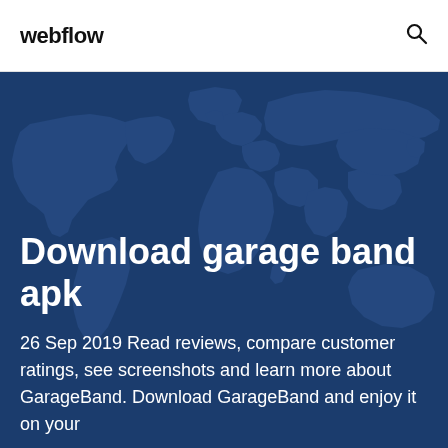webflow
[Figure (illustration): World map silhouette illustration used as hero background, rendered in dark blue tones]
Download garage band apk
26 Sep 2019 Read reviews, compare customer ratings, see screenshots and learn more about GarageBand. Download GarageBand and enjoy it on your